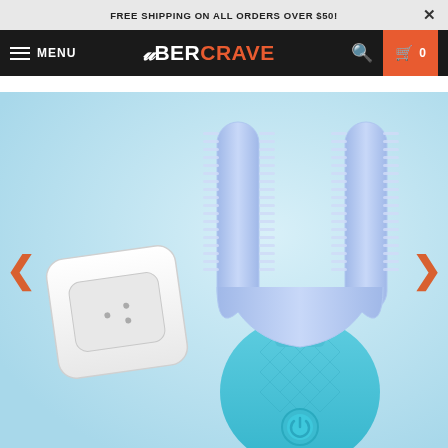FREE SHIPPING ON ALL ORDERS OVER $50!
UBERCRAVE — MENU — Search — Cart 0
[Figure (photo): Product photo of a U-shaped electric toothbrush (360-degree automatic toothbrush) in teal/blue color with a U-shaped silicone brush head, and its white charging case on a light blue background. The toothbrush has a power button on the front and LED lights at the brush head connection. Left and right navigation arrows are shown on the sides of the image.]